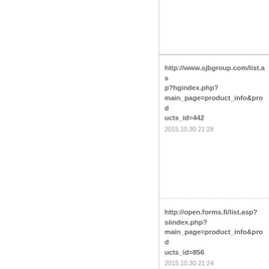http://www.sjbgroup.com/list.asp?hgindex.php?main_page=product_info&products_id=442
2015.10.30 21:28
http://open.forms.fi/list.asp?siindex.php?main_page=product_info&products_id=856
2015.10.30 21:24